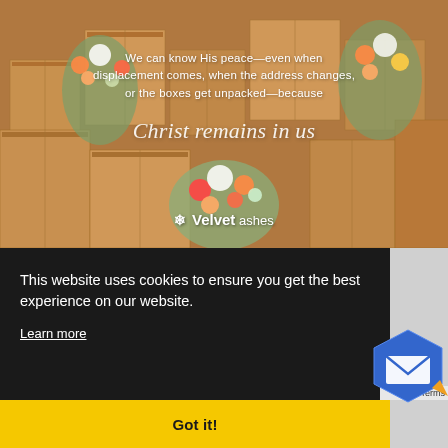[Figure (photo): Photo of stacked cardboard moving boxes decorated with floral arrangements (orange, white, red flowers with green eucalyptus leaves), on a warm brown/tan background. Overlaid with white text: 'We can know His peace—even when displacement comes, when the address changes, or the boxes get unpacked—because Christ remains in us' in a combination of sans-serif and script fonts. Velvet Ashes logo at the bottom center.]
This website uses cookies to ensure you get the best experience on our website.
Learn more
Got it!